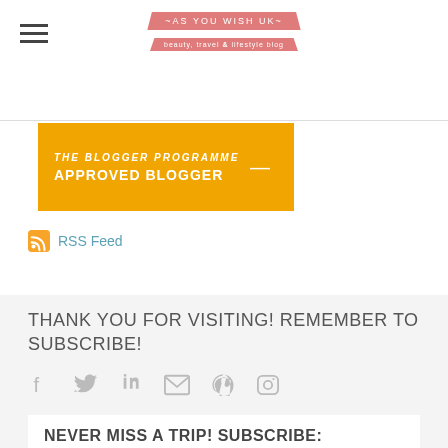AS YOU WISH UK — beauty, travel & lifestyle blog
[Figure (other): Yellow banner reading 'THE BLOGGER PROGRAMME APPROVED BLOGGER']
RSS Feed
THANK YOU FOR VISITING! REMEMBER TO SUBSCRIBE!
[Figure (other): Social media icons: Facebook, Twitter, LinkedIn, Email, Pinterest, Instagram]
NEVER MISS A TRIP! SUBSCRIBE: